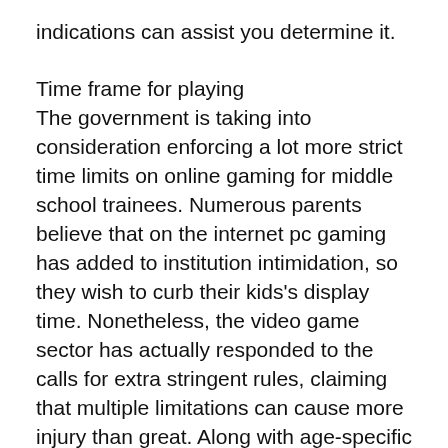indications can assist you determine it.
Time frame for playing
The government is taking into consideration enforcing a lot more strict time limits on online gaming for middle school trainees. Numerous parents believe that on the internet pc gaming has added to institution intimidation, so they wish to curb their kids's display time. Nonetheless, the video game sector has actually responded to the calls for extra stringent rules, claiming that multiple limitations can cause more injury than great. Along with age-specific limitations, moms and dads must likewise consider which games their children are playing. Stay clear of titles with graphic physical violence, sex, or sex-related web content.